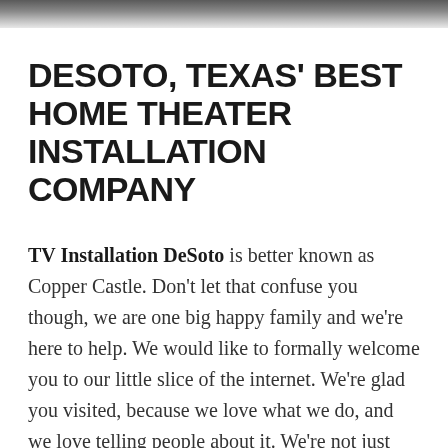[Figure (photo): Dark textured header image strip at the top of the page]
DESOTO, TEXAS' BEST HOME THEATER INSTALLATION COMPANY
TV Installation DeSoto is better known as Copper Castle. Don't let that confuse you though, we are one big happy family and we're here to help. We would like to formally welcome you to our little slice of the internet. We're glad you visited, because we love what we do, and we love telling people about it. We're not just being full of ourselves when we tell you that we're the best TV mounting service in DeSoto, and pretty darn good at just about anything else you need when it